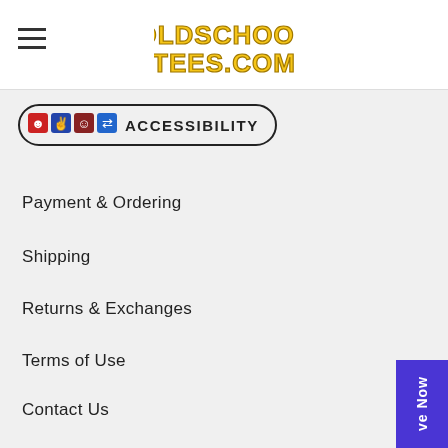OldSchoolTees.com
[Figure (logo): OldSchoolTees.com logo in yellow bold cartoon font]
[Figure (infographic): Accessibility button with icons and text ACCESSIBILITY in bold, pill-shaped border]
Payment & Ordering
Shipping
Returns & Exchanges
Terms of Use
Contact Us
Sitemap
OTHER STUFF
Get 15% Off Today
Rockin' Rewards